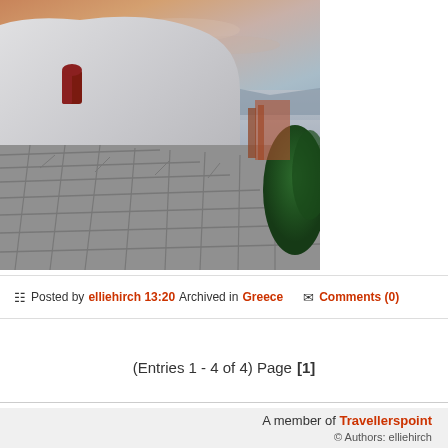[Figure (photo): Photograph of a whitewashed Greek building with a red door and cobblestone street, with sea and sunset sky in background, green bush on right side]
Posted by elliehirch 13:20 Archived in Greece  Comments (0)
(Entries 1 - 4 of 4) Page [1]
A member of Travellerspoint
© Authors: elliehirch